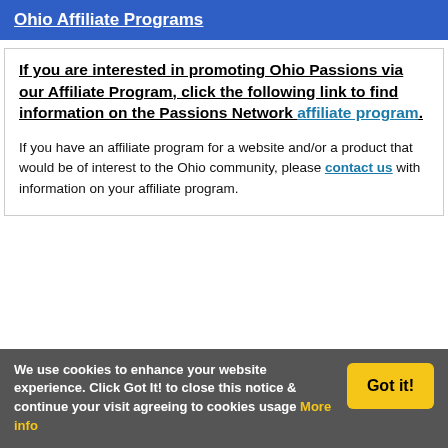Ohio Affiliate Programs
If you are interested in promoting Ohio Passions via our Affiliate Program, click the following link to find information on the Passions Network affiliate program.
If you have an affiliate program for a website and/or a product that would be of interest to the Ohio community, please contact us with information on your affiliate program.
We use cookies to enhance your website experience. Click Got It! to close this notice & continue your visit agreeing to cookies usage More info